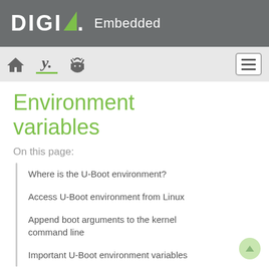[Figure (logo): DIGI Embedded logo with green triangle accent on dark gray header bar]
[Figure (screenshot): Navigation bar with home icon, Y icon (active with green underline), Android icon, and hamburger menu button]
Environment variables
On this page:
Where is the U-Boot environment?
Access U-Boot environment from Linux
Append boot arguments to the kernel command line
Important U-Boot environment variables